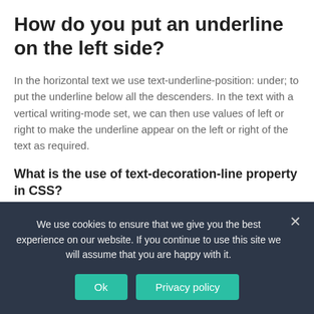How do you put an underline on the left side?
In the horizontal text we use text-underline-position: under; to put the underline below all the descenders. In the text with a vertical writing-mode set, we can then use values of left or right to make the underline appear on the left or right of the text as required.
What is the use of text-decoration-line property in CSS?
The text-decoration CSS property is used to decorate the...
We use cookies to ensure that we give you the best experience on our website. If you continue to use this site we will assume that you are happy with it.